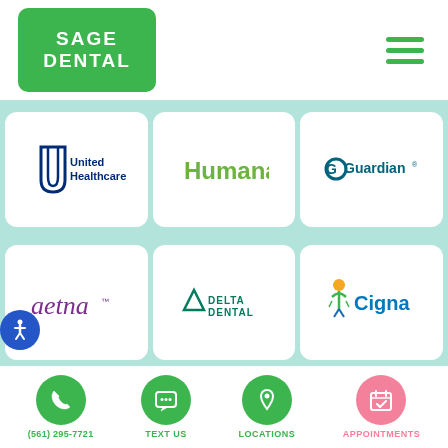[Figure (logo): Sage Dental logo - green rounded rectangle with white SAGE DENTAL text]
[Figure (logo): Hamburger menu icon - three green horizontal lines]
[Figure (logo): United Healthcare logo]
[Figure (logo): Humana logo]
[Figure (logo): Guardian logo]
[Figure (logo): Aetna logo]
[Figure (logo): Delta Dental logo]
[Figure (logo): Cigna logo]
(561) 295-7721
TEXT US
LOCATIONS
APPOINTMENTS